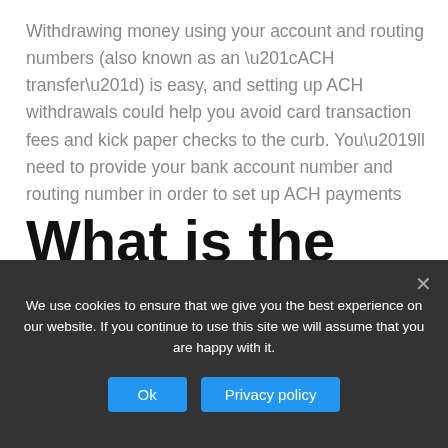Withdrawing money using your account and routing numbers (also known as an “ACH transfer”) is easy, and setting up ACH withdrawals could help you avoid card transaction fees and kick paper checks to the curb. You’ll need to provide your bank account number and routing number in order to set up ACH payments
What is the advantage of a credit card over a
We use cookies to ensure that we give you the best experience on our website. If you continue to use this site we will assume that you are happy with it.